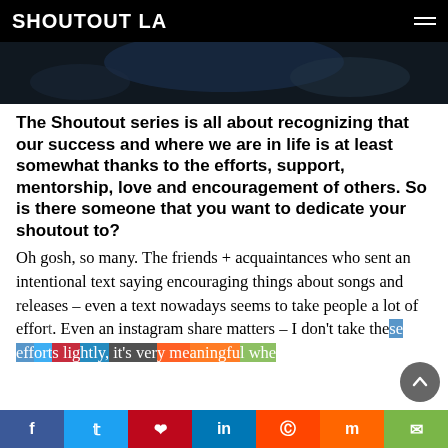SHOUTOUT LA
[Figure (photo): Hero/banner image at top of article, dark blue/navy background]
The Shoutout series is all about recognizing that our success and where we are in life is at least somewhat thanks to the efforts, support, mentorship, love and encouragement of others. So is there someone that you want to dedicate your shoutout to?
Oh gosh, so many. The friends + acquaintances who sent an intentional text saying encouraging things about songs and releases – even a text nowadays seems to take people a lot of effort. Even an instagram share matters – I don't take these efforts lightly, it's very meaningful whe…
Share bar: Facebook, Twitter, Pinterest, LinkedIn, Reddit, Mix, Email